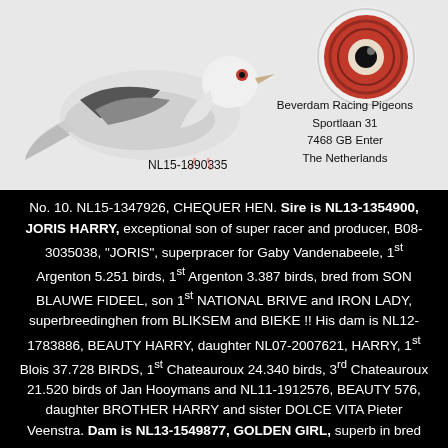[Figure (photo): Photo of a racing pigeon (chequer/white) on white/grey background, with a close-up of a pigeon eye (red iris) in the upper right corner. Ring label NL15-1890335 shown below the pigeon. Address block: Beverdam Racing Pigeons, Sportlaan 31, 7468 GB Enter, The Netherlands.]
No. 10. NL15-1347926, CHEQUER HEN. Sire is NL13-1354900, JORIS HARRY, exceptional son of super racer and producer, B08-3035038, "JORIS", superpracer for Gaby Vandenabeele, 1st Argenton 5.251 birds, 1st Argenton 3.387 birds, bred from SON BLAUWE FIDEEL, son 1st NATIONAL BRIVE and IRON LADY, superbreedinghen from BLIKSEM and BIEKE !! His dam is NL12-1783886, BEAUTY HARRY, daughter NL07-2007621, HARRY, 1st Blois 37.728 BIRDS, 1st Chateauroux 24.340 birds, 3rd Chateauroux 21.520 birds of Jan Hooymans and NL11-1912576, BEAUTY 576, daughter BROTHER HARRY and sister DOLCE VITA Pieter Veenstra. Dam is NL13-1549877, GOLDEN GIRL, superb in bred